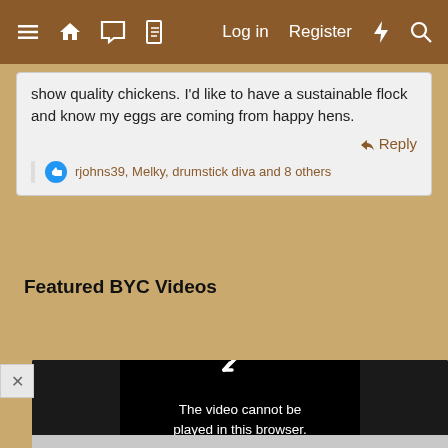≡ 🏠 💬 📄   Log in   Register   ⚡   🔍
show quality chickens. I'd like to have a sustainable flock and know my eggs are coming from happy hens.
↩ Reply
rjohns39, Melky, drumstick diva and 8 others
Featured BYC Videos
[Figure (screenshot): Video player showing error message: The video cannot be played in this browser. (Error Code: 242632)]